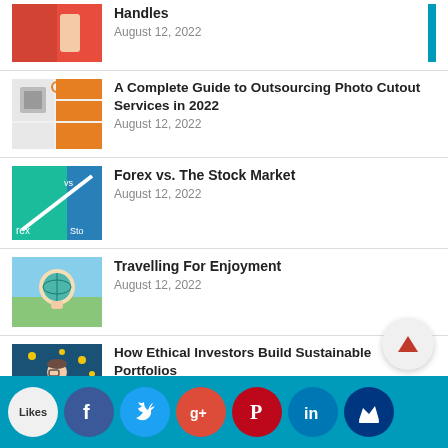Handles — August 12, 2022
A Complete Guide to Outsourcing Photo Cutout Services in 2022 — August 12, 2022
Forex vs. The Stock Market — August 12, 2022
Travelling For Enjoyment — August 12, 2022
How Ethical Investors Build Sustainable Portfolios — August 8, 2022
[Figure (other): Social sharing bar with Facebook, Twitter, Google+, Pinterest, LinkedIn, and crown icon buttons, plus a scroll-up arrow button]